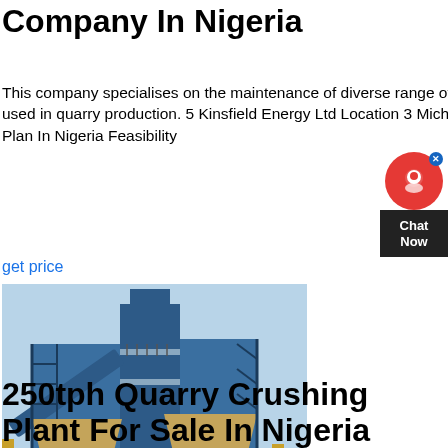Company In Nigeria
This company specialises on the maintenance of diverse range of quarrying plants with machineries and associated tools that is widely used in quarry production. 5 Kinsfield Energy Ltd Location 3 Michika Street, Garki Area 11, Abuja F.C.T. Live Chat Block Industry Business Plan In Nigeria Feasibility
get price
[Figure (photo): Large blue industrial quarry crushing plant machinery with metal staircases and yellow structural supports, photographed from below against a clear sky.]
250tph Quarry Crushing Plant For Sale In Nigeria